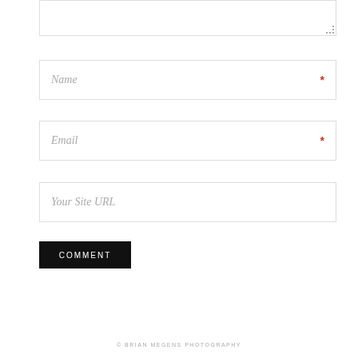[Figure (screenshot): Partial comment form textarea at top of page with resize handle visible]
Name *
Email *
Your Site URL
COMMENT
© BRIAN MEGENS PHOTOGRAPHY